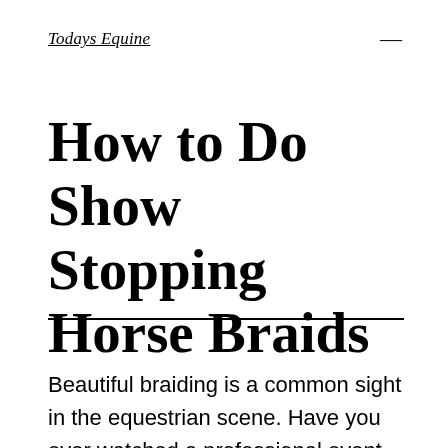Todays Equine
How to Do Show Stopping Horse Braids
Beautiful braiding is a common sight in the equestrian scene. Have you ever watched a professional event and wondered how the riders